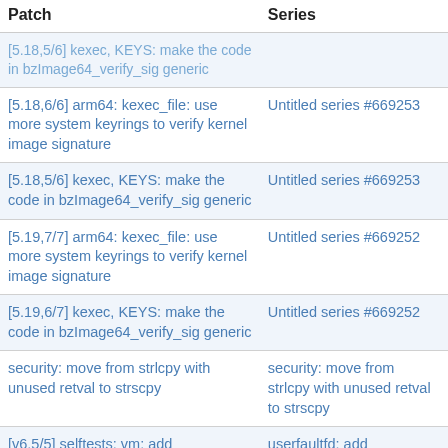| Patch | Series |
| --- | --- |
| [5.18,5/6] kexec, KEYS: make the code in bzImage64_verify_sig generic | (partial/cut off top) |
| [5.18,6/6] arm64: kexec_file: use more system keyrings to verify kernel image signature | Untitled series #669253 |
| [5.18,5/6] kexec, KEYS: make the code in bzImage64_verify_sig generic | Untitled series #669253 |
| [5.19,7/7] arm64: kexec_file: use more system keyrings to verify kernel image signature | Untitled series #669252 |
| [5.19,6/7] kexec, KEYS: make the code in bzImage64_verify_sig generic | Untitled series #669252 |
| security: move from strlcpy with unused retval to strscpy | security: move from strlcpy with unused retval to strscpy |
| [v6,5/5] selftests: vm: add /dev/userfaultfd test cases to run_vmtests.sh | userfaultfd: add /dev/userfaultfd fine grained access contro… |
| [v6,4/5] userfaultfd: update documentation to describe /dev/userfaultfd | userfaultfd: add /dev/userfaultfd fine grained access contro… |
| [v6,3/5] userfaultfd: selftests: modify… | userfaultfd: add /dev/userf… |